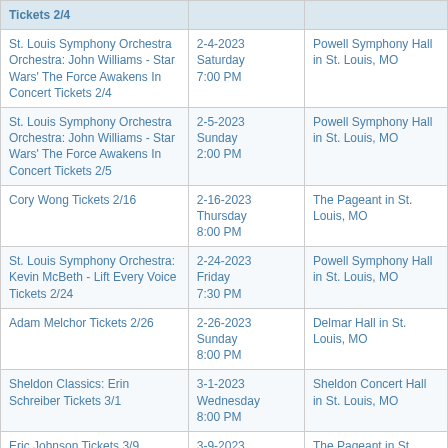| Event | Date/Time | Venue |
| --- | --- | --- |
| Tickets 2/4 (truncated header row) |  |  |
| St. Louis Symphony Orchestra Orchestra: John Williams - Star Wars' The Force Awakens In Concert Tickets 2/4 | 2-4-2023
Saturday
7:00 PM | Powell Symphony Hall in St. Louis, MO |
| St. Louis Symphony Orchestra Orchestra: John Williams - Star Wars' The Force Awakens In Concert Tickets 2/5 | 2-5-2023
Sunday
2:00 PM | Powell Symphony Hall in St. Louis, MO |
| Cory Wong Tickets 2/16 | 2-16-2023
Thursday
8:00 PM | The Pageant in St. Louis, MO |
| St. Louis Symphony Orchestra: Kevin McBeth - Lift Every Voice Tickets 2/24 | 2-24-2023
Friday
7:30 PM | Powell Symphony Hall in St. Louis, MO |
| Adam Melchor Tickets 2/26 | 2-26-2023
Sunday
8:00 PM | Delmar Hall in St. Louis, MO |
| Sheldon Classics: Erin Schreiber Tickets 3/1 | 3-1-2023
Wednesday
8:00 PM | Sheldon Concert Hall in St. Louis, MO |
| Eric Johnson Tickets 3/9 | 3-9-2023
Thursday
8:00 PM | The Pageant in St. Louis, MO |
| Emmet Cohen Trio Tickets 3/11 | 3-11-2023
Saturday
8:00 PM | Sheldon Concert Hall in St. Louis, MO |
| Kevin Buckley Tickets 3/14 | 3-14-2023
Tuesday
10:00 AM | Sheldon Concert Hall in St. Louis, MO |